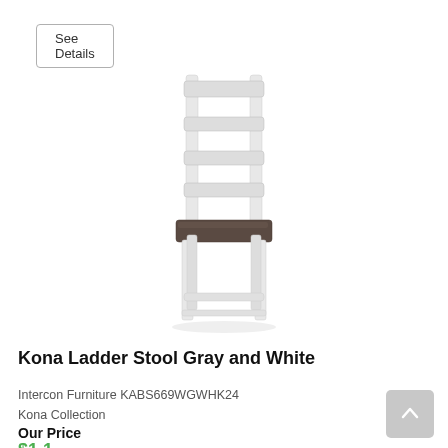See Details
[Figure (photo): A white ladder-back counter stool with a dark gray/brown wooden seat. The chair has a slatted back with three horizontal rungs, white painted legs, and a footrest rung.]
Kona Ladder Stool Gray and White
Intercon Furniture KABS669WGWHK24
Kona Collection
Our Price
$1,1